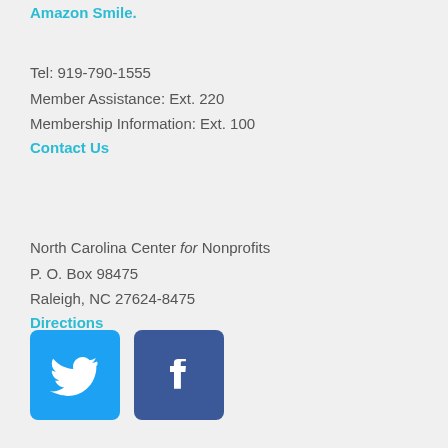Amazon Smile.
Tel: 919-790-1555
Member Assistance: Ext. 220
Membership Information: Ext. 100
Contact Us
North Carolina Center for Nonprofits
P. O. Box 98475
Raleigh, NC 27624-8475
Directions
[Figure (logo): Twitter bird icon in blue square and Facebook f icon in dark blue square]